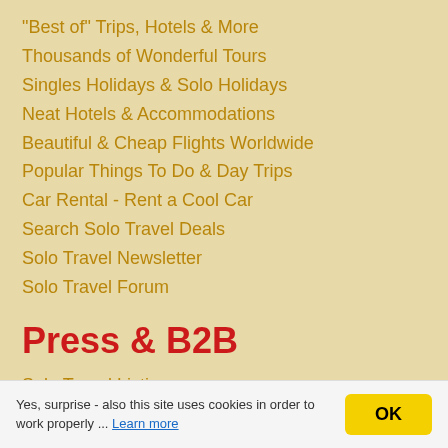"Best of" Trips, Hotels & More
Thousands of Wonderful Tours
Singles Holidays & Solo Holidays
Neat Hotels & Accommodations
Beautiful & Cheap Flights Worldwide
Popular Things To Do & Day Trips
Car Rental - Rent a Cool Car
Search Solo Travel Deals
Solo Travel Newsletter
Solo Travel Forum
Press & B2B
Solo Travel Listing
Hotel Marketing
Press Area
About Us
Yes, surprise - also this site uses cookies in order to work properly ... Learn more